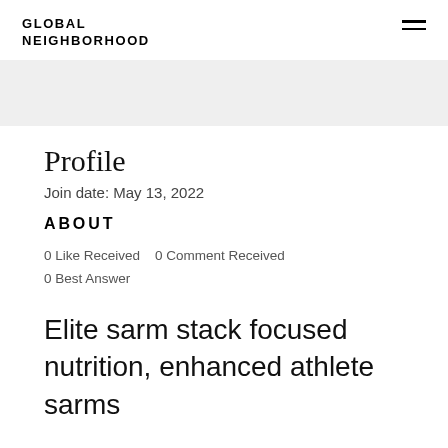GLOBAL NEIGHBORHOOD
[Figure (other): Gray banner/image placeholder area]
Profile
Join date: May 13, 2022
ABOUT
0 Like Received   0 Comment Received   0 Best Answer
Elite sarm stack focused nutrition, enhanced athlete sarms